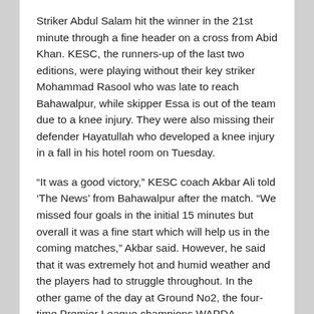Striker Abdul Salam hit the winner in the 21st minute through a fine header on a cross from Abid Khan. KESC, the runners-up of the last two editions, were playing without their key striker Mohammad Rasool who was late to reach Bahawalpur, while skipper Essa is out of the team due to a knee injury. They were also missing their defender Hayatullah who developed a knee injury in a fall in his hotel room on Tuesday.
“It was a good victory,” KESC coach Akbar Ali told ‘The News’ from Bahawalpur after the match. “We missed four goals in the initial 15 minutes but overall it was a fine start which will help us in the coming matches,” Akbar said. However, he said that it was extremely hot and humid weather and the players had to struggle throughout. In the other game of the day at Ground No2, the four-time Premier League champions WAPDA whipped Sui Southern Gas Company (SSGC) 3-0 in